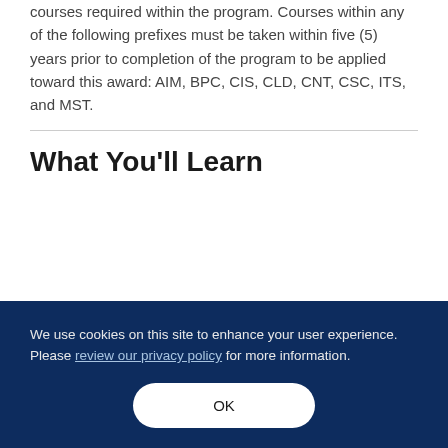courses required within the program. Courses within any of the following prefixes must be taken within five (5) years prior to completion of the program to be applied toward this award: AIM, BPC, CIS, CLD, CNT, CSC, ITS, and MST.
What You'll Learn
We use cookies on this site to enhance your user experience. Please review our privacy policy for more information.